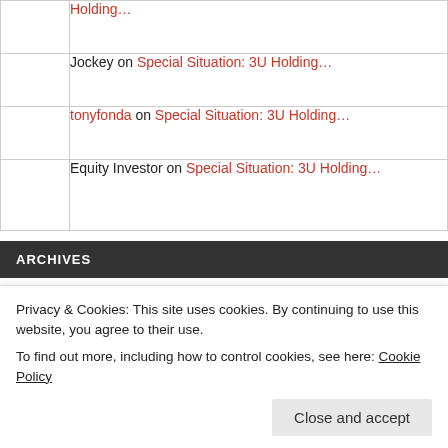Holding...
Jockey on Special Situation: 3U Holding...
tonyfonda on Special Situation: 3U Holding...
Equity Investor on Special Situation: 3U Holding...
ARCHIVES
September 2022
Privacy & Cookies: This site uses cookies. By continuing to use this website, you agree to their use.
To find out more, including how to control cookies, see here: Cookie Policy
March 2022